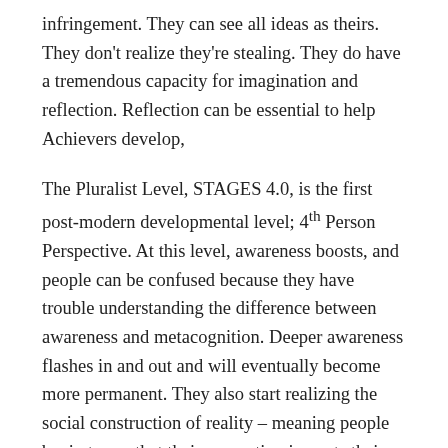infringement. They can see all ideas as theirs. They don't realize they're stealing. They do have a tremendous capacity for imagination and reflection. Reflection can be essential to help Achievers develop,
The Pluralist Level, STAGES 4.0, is the first post-modern developmental level; 4th Person Perspective. At this level, awareness boosts, and people can be confused because they have trouble understanding the difference between awareness and metacognition. Deeper awareness flashes in and out and will eventually become more permanent. They also start realizing the social construction of reality – meaning people begin to see that their perception impacts their experiences.